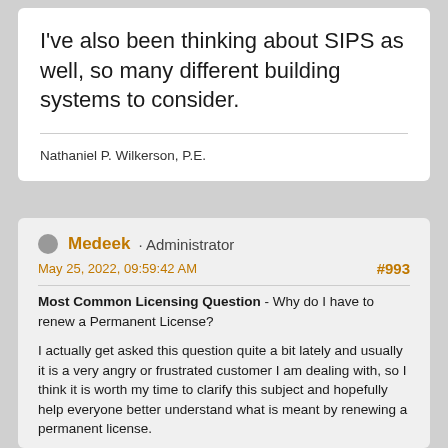I've also been thinking about SIPS as well, so many different building systems to consider.
Nathaniel P. Wilkerson, P.E.
Medeek · Administrator
May 25, 2022, 09:59:42 AM
#993
Most Common Licensing Question - Why do I have to renew a Permanent License?
I actually get asked this question quite a bit lately and usually it is a very angry or frustrated customer I am dealing with, so I think it is worth my time to clarify this subject and hopefully help everyone better understand what is meant by renewing a permanent license.
At first glance it would seem oxymoronic that one would need to "renew" anything that is "permanent" however it does make more sense when you fully understand how the permanent licensing